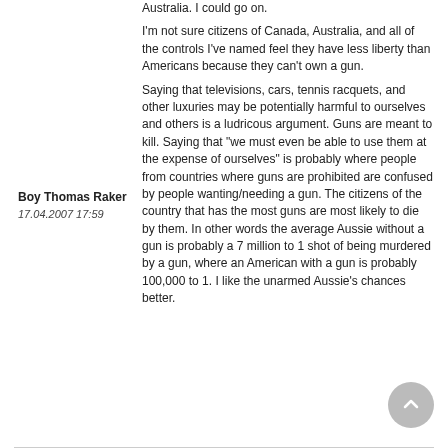Australia. I could go on.
I'm not sure citizens of Canada, Australia, and all of the controls I've named feel they have less liberty than Americans because they can't own a gun.
Boy Thomas Raker
17.04.2007 17:59
Saying that televisions, cars, tennis racquets, and other luxuries may be potentially harmful to ourselves and others is a ludricous argument. Guns are meant to kill. Saying that "we must even be able to use them at the expense of ourselves" is probably where people from countries where guns are prohibited are confused by people wanting/needing a gun. The citizens of the country that has the most guns are most likely to die by them. In other words the average Aussie without a gun is probably a 7 million to 1 shot of being murdered by a gun, where an American with a gun is probably 100,000 to 1. I like the unarmed Aussie's chances better.